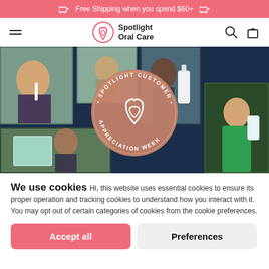Free Shipping when you spend $60+
[Figure (logo): Spotlight Oral Care logo with tooth/heart icon and brand name]
[Figure (photo): Spotlight Customer Appreciation Week collage — multiple customer photos on dark navy background with circular rose-gold badge reading 'SPOTLIGHT CUSTOMER APPRECIATION WEEK']
We use cookies  Hi, this website uses essential cookies to ensure its proper operation and tracking cookies to understand how you interact with it. You may opt out of certain categories of cookies from the cookie preferences.
Accept all
Preferences